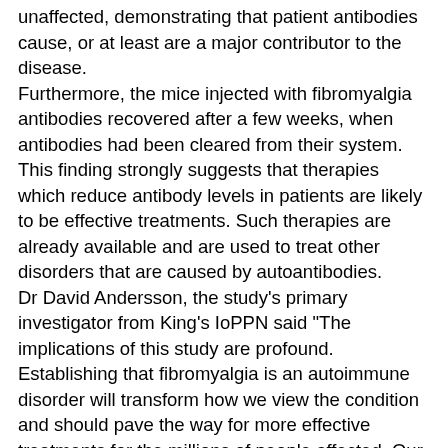unaffected, demonstrating that patient antibodies cause, or at least are a major contributor to the disease. Furthermore, the mice injected with fibromyalgia antibodies recovered after a few weeks, when antibodies had been cleared from their system. This finding strongly suggests that therapies which reduce antibody levels in patients are likely to be effective treatments. Such therapies are already available and are used to treat other disorders that are caused by autoantibodies. Dr David Andersson, the study's primary investigator from King's IoPPN said "The implications of this study are profound. Establishing that fibromyalgia is an autoimmune disorder will transform how we view the condition and should pave the way for more effective treatments for the millions of people affected. Our work has uncovered a whole new area of therapeutic options and should give real hope to fibromyalgia patients. "Previous exploration of therapies has been hampered by our limited understanding of the illness. This should now change. Treatment for FMS is focussed on gentle aerobic exercises, as well as drug and psychological therapies designed to manage